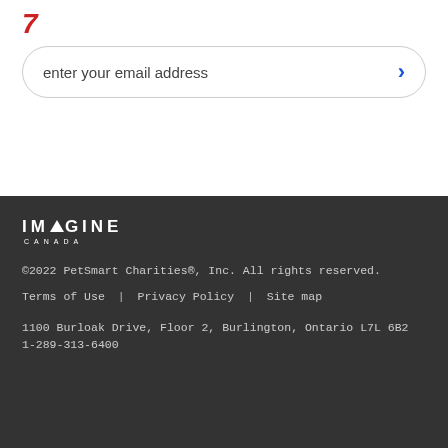[Figure (other): Partial red italic text or mark at top left, cropped]
enter your email address
[Figure (logo): Imagine Canada logo — white text with triangle replacing the letter A, and 'CANADA' in small caps beneath]
©2022 PetSmart Charities®, Inc. All rights reserved.
Terms of Use  |  Privacy Policy  |  Site map
1100 Burloak Drive, Floor 2, Burlington, Ontario L7L 6B2
1-289-313-6400